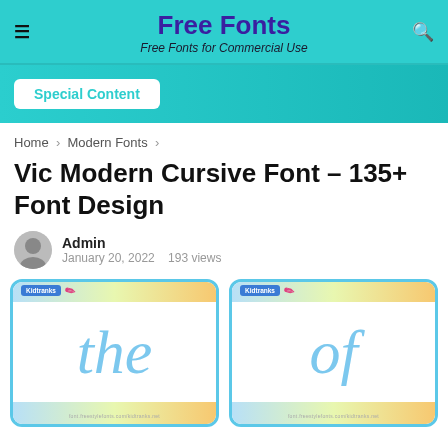Free Fonts
Free Fonts for Commercial Use
Special Content
Home > Modern Fonts >
Vic Modern Cursive Font – 135+ Font Design
Admin
January 20, 2022    193 views
[Figure (illustration): Two font preview cards showing cursive word 'the' and 'of' in blue italic style on white cards with colorful gradient borders]
the    of